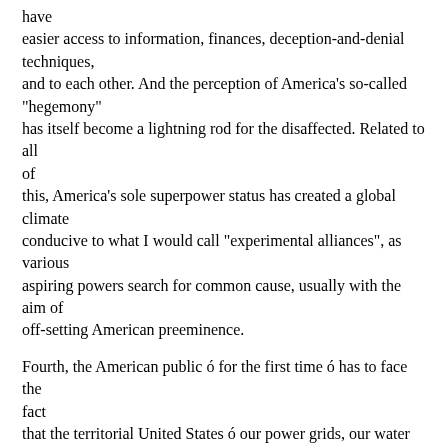have easier access to information, finances, deception-and-denial techniques, and to each other. And the perception of America's so-called "hegemony" has itself become a lightning rod for the disaffected. Related to all of this, America's sole superpower status has created a global climate conducive to what I would call "experimental alliances", as various aspiring powers search for common cause, usually with the aim of off-setting American preeminence.
Fourth, the American public ó for the first time ó has to face the fact that the territorial United States ó our power grids, our water and transportation systems, and our public communications networks are vulnerable to new and unconventional dangers like chemical and biological weapons and cyber attacks, and also to some older conventional threats like ballistic missiles.
Last but not least, Russia and China and other key countries in volatile